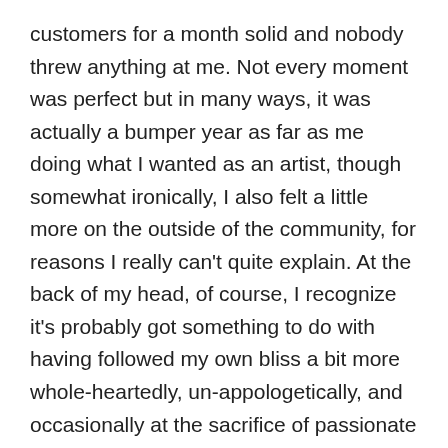customers for a month solid and nobody threw anything at me. Not every moment was perfect but in many ways, it was actually a bumper year as far as me doing what I wanted as an artist, though somewhat ironically, I also felt a little more on the outside of the community, for reasons I really can't quite explain. At the back of my head, of course, I recognize it's probably got something to do with having followed my own bliss a bit more whole-heartedly, un-appologetically, and occasionally at the sacrifice of passionate obligations and social politicking that at another point in my career would have called the shots more. I de-friended more of my fellow theater artists this year than ever before (albeit mostly due to the election), while at the same time expanding my collaborative circles exponentially, and though I suspect my approach to my own trajectory has always been complex if not outright